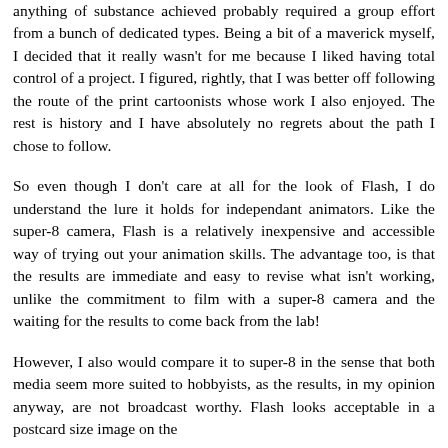anything of substance achieved probably required a group effort from a bunch of dedicated types. Being a bit of a maverick myself, I decided that it really wasn't for me because I liked having total control of a project. I figured, rightly, that I was better off following the route of the print cartoonists whose work I also enjoyed. The rest is history and I have absolutely no regrets about the path I chose to follow.
So even though I don't care at all for the look of Flash, I do understand the lure it holds for independant animators. Like the super-8 camera, Flash is a relatively inexpensive and accessible way of trying out your animation skills. The advantage too, is that the results are immediate and easy to revise what isn't working, unlike the commitment to film with a super-8 camera and the waiting for the results to come back from the lab!
However, I also would compare it to super-8 in the sense that both media seem more suited to hobbyists, as the results, in my opinion anyway, are not broadcast worthy. Flash looks acceptable in a postcard size image on the